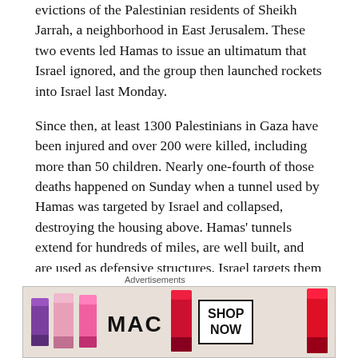evictions of the Palestinian residents of Sheikh Jarrah, a neighborhood in East Jerusalem. These two events led Hamas to issue an ultimatum that Israel ignored, and the group then launched rockets into Israel last Monday.
Since then, at least 1300 Palestinians in Gaza have been injured and over 200 were killed, including more than 50 children. Nearly one-fourth of those deaths happened on Sunday when a tunnel used by Hamas was targeted by Israel and collapsed, destroying the housing above. Hamas’ tunnels extend for hundreds of miles, are well built, and are used as defensive structures. Israel targets them with airstrikes and uses ground forces to collapse them at strategic points.
In a statement, the Israeli military said, “Hamas
Advertisements
[Figure (photo): MAC Cosmetics advertisement banner showing lipsticks in purple, pink, and red with MAC logo and SHOP NOW button]